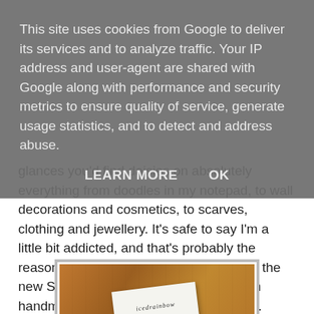This site uses cookies from Google to deliver its services and to analyze traffic. Your IP address and user-agent are shared with Google along with performance and security metrics to ensure quality of service, generate usage statistics, and to detect and address abuse.
LEARN MORE    OK
glances you'd find daisies on absolutely everything from doodles in my notepad, to wall decorations and cosmetics, to scarves, clothing and jewellery. It's safe to say I'm a little bit addicted, and that's probably the reason why I'm absolutely all over one of the new Spring / Summer 15 collections from handmade jewellery brand Iced Rainbow.
[Figure (photo): A white business card with 'icedrainbow jewellery' written in stylized script, placed on a wooden surface]